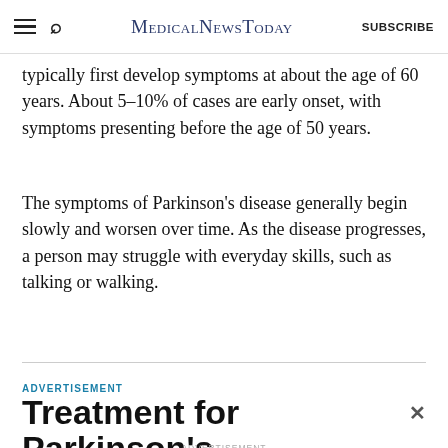MedicalNewsToday  SUBSCRIBE
typically first develop symptoms at about the age of 60 years. About 5–10% of cases are early onset, with symptoms presenting before the age of 50 years.
The symptoms of Parkinson's disease generally begin slowly and worsen over time. As the disease progresses, a person may struggle with everyday skills, such as talking or walking.
ADVERTISEMENT
Treatment for Parkinson's
ADVERTISEMENT
[Figure (infographic): MNT newsletter subscription banner with teal background, showing 'Get the MNT newsletter' headline, 'Subscribe to receive our top news articles' subtext, and a black SUBSCRIBE button on the right.]